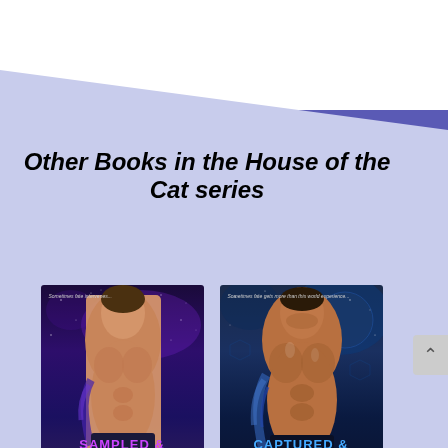Other Books in the House of the Cat series
[Figure (photo): Book cover for 'Sampled & Seduced' by Shelley Munro — shirtless tattooed male figure against purple space background]
[Figure (photo): Book cover for 'Captured & Seduced' by Shelley Munro — shirtless tattooed male figure against blue sci-fi background]